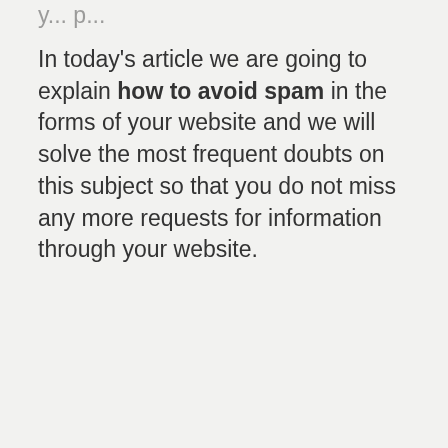In today's article we are going to explain how to avoid spam in the forms of your website and we will solve the most frequent doubts on this subject so that you do not miss any more requests for information through your website.